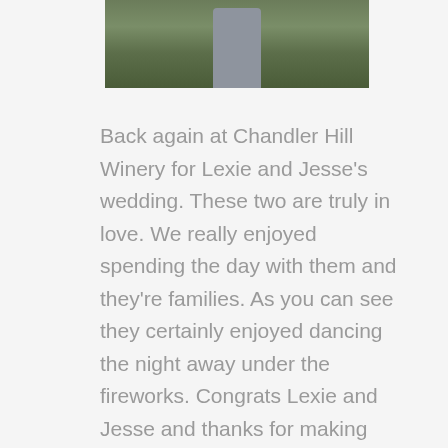[Figure (photo): Partial photograph showing a person (groom) in a suit holding a bouquet, with green foliage in the background. Only the lower portion of the image is visible.]
Back again at Chandler Hill Winery for Lexie and Jesse's wedding. These two are truly in love. We really enjoyed spending the day with them and they're families. As you can see they certainly enjoyed dancing the night away under the fireworks. Congrats Lexie and Jesse and thanks for making Ever After Films apart of your day!